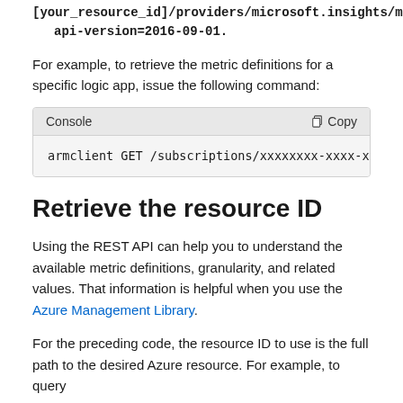[your_resource_id]/providers/microsoft.insights/metr… api-version=2016-09-01.
For example, to retrieve the metric definitions for a specific logic app, issue the following command:
Console   Copy
armclient GET /subscriptions/xxxxxxxx-xxxx-xxxx-…
Retrieve the resource ID
Using the REST API can help you to understand the available metric definitions, granularity, and related values. That information is helpful when you use the Azure Management Library.
For the preceding code, the resource ID to use is the full path to the desired Azure resource. For example, to query